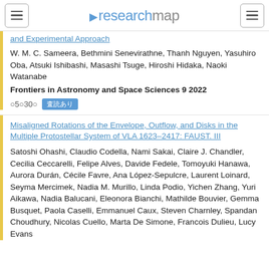researchmap
and Experimental Approach
W. M. C. Sameera, Bethmini Senevirathne, Thanh Nguyen, Yasuhiro Oba, Atsuki Ishibashi, Masashi Tsuge, Hiroshi Hidaka, Naoki Watanabe
Frontiers in Astronomy and Space Sciences 9 2022
◯5◯30◯
Misaligned Rotations of the Envelope, Outflow, and Disks in the Multiple Protostellar System of VLA 1623–2417: FAUST. III
Satoshi Ohashi, Claudio Codella, Nami Sakai, Claire J. Chandler, Cecilia Ceccarelli, Felipe Alves, Davide Fedele, Tomoyuki Hanawa, Aurora Durán, Cécile Favre, Ana López-Sepulcre, Laurent Loinard, Seyma Mercimek, Nadia M. Murillo, Linda Podio, Yichen Zhang, Yuri Aikawa, Nadia Balucani, Eleonora Bianchi, Mathilde Bouvier, Gemma Busquet, Paola Caselli, Emmanuel Caux, Steven Charnley, Spandan Choudhury, Nicolas Cuello, Marta De Simone, Francois Dulieu, Lucy Evans